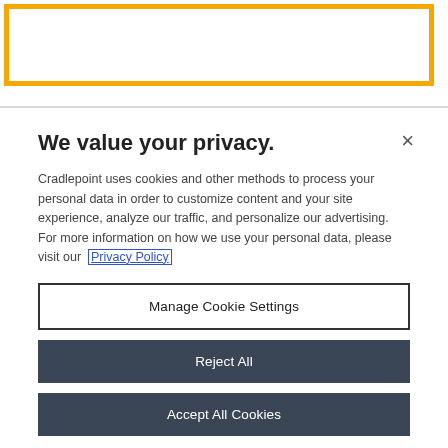[Figure (screenshot): Yellow/orange bordered rectangle at top of page, representing a UI element or search bar area]
We value your privacy.
Cradlepoint uses cookies and other methods to process your personal data in order to customize content and your site experience, analyze our traffic, and personalize our advertising. For more information on how we use your personal data, please visit our Privacy Policy
Manage Cookie Settings
Reject All
Accept All Cookies